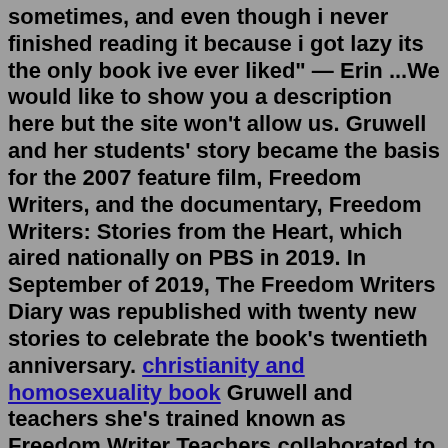sometimes, and even though i never finished reading it because i got lazy its the only book ive ever liked" — Erin ...We would like to show you a description here but the site won't allow us. Gruwell and her students' story became the basis for the 2007 feature film, Freedom Writers, and the documentary, Freedom Writers: Stories from the Heart, which aired nationally on PBS in 2019. In September of 2019, The Freedom Writers Diary was republished with twenty new stories to celebrate the book's twentieth anniversary. christianity and homosexuality book Gruwell and teachers she's trained known as Freedom Writer Teachers collaborated to write Teaching Hope, a book in which stories from "the front lines of education take [the reader] from the anticipation of the first day to the disillusionment, challenges, and triumphs of the school year."Follow Erin Gruwell and explore their bibliography from Amazon.com's Erin Gruwell Author Page. Gruwell and teachers she's trained known as Freedom Writer Teachers collaborated to write Teaching Hope, a book